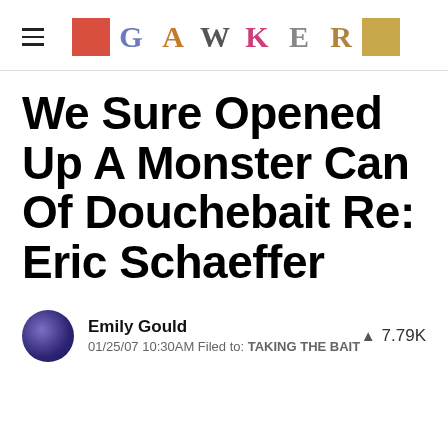GAWKER
We Sure Opened Up A Monster Can Of Douchebait Re: Eric Schaeffer
Emily Gould  01/25/07 10:30AM  Filed to: TAKING THE BAIT  7.79K